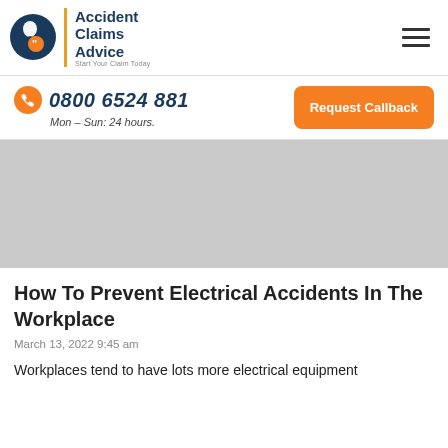[Figure (logo): Accident Claims Advice logo with circular icon and text 'Accident Claims Advice - Start Your Claim Today']
0800 6524 881
Mon – Sun: 24 hours.
Request Callback
[Figure (photo): Gray image placeholder area]
How To Prevent Electrical Accidents In The Workplace
March 13, 2022 9:45 am
Workplaces tend to have lots more electrical equipment